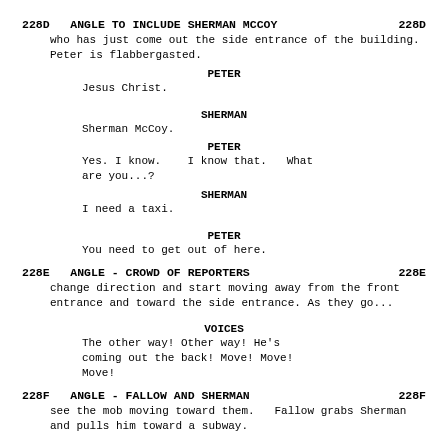228D   ANGLE TO INCLUDE SHERMAN MCCOY   228D
who has just come out the side entrance of the building. Peter is flabbergasted.
PETER
Jesus Christ.
SHERMAN
Sherman McCoy.
PETER
Yes. I know.    I know that.   What are you...?
SHERMAN
I need a taxi.
PETER
You need to get out of here.
228E   ANGLE - CROWD OF REPORTERS   228E
change direction and start moving away from the front entrance and toward the side entrance. As they go...
VOICES
The other way! Other way! He's coming out the back! Move! Move! Move!
228F   ANGLE - FALLOW AND SHERMAN   228F
see the mob moving toward them.   Fallow grabs Sherman and pulls him toward a subway.